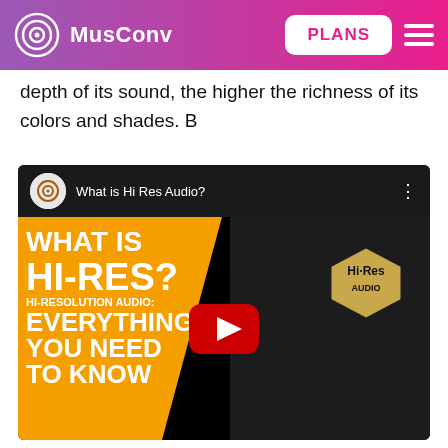MusConv | PLANS
depth of its sound, the higher the richness of its colors and shades. B
[Figure (screenshot): YouTube video thumbnail titled 'What is Hi Res Audio?' showing orange and dark split panel with text 'WHAT IS HI-RES?', 'HI-RESOLUTION AUDIO:', 'EVERYTHING YOU NEED TO KNOW' and a Hi-Res Audio badge on a device, with a red YouTube play button overlay.]